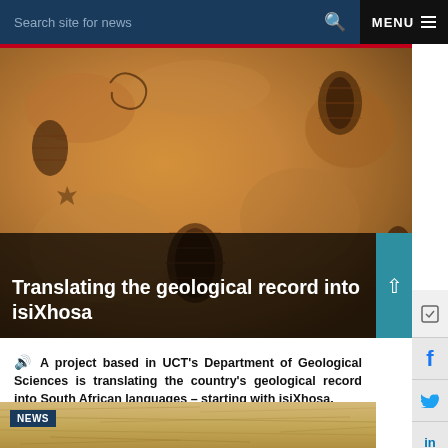Search site for news  🔍  MENU
[Figure (photo): Close-up photograph of trilobite and other fossils embedded in sandy/ochre-colored rock surface]
Translating the geological record into isiXhosa
🔊 A project based in UCT's Department of Geological Sciences is translating the country's geological record into South African languages – starting with isiXhosa.
12 AUG 2020 - 5 min read
[Figure (photo): Partial view of a second article preview showing dry grass/hay in a warm golden-brown color with a NEWS tag]
NEWS